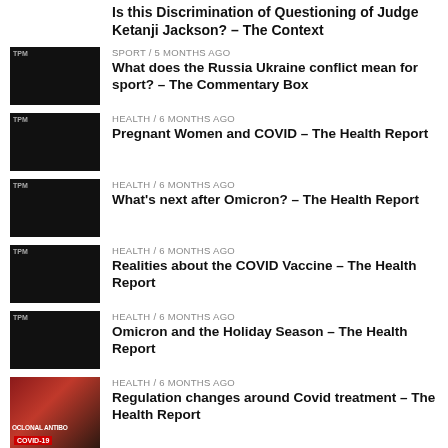Is this Discrimination of Questioning of Judge Ketanji Jackson? – The Context
SPORT / 5 months ago
What does the Russia Ukraine conflict mean for sport? – The Commentary Box
HEALTH / 6 months ago
Pregnant Women and COVID – The Health Report
HEALTH / 6 months ago
What's next after Omicron? – The Health Report
HEALTH / 6 months ago
Realities about the COVID Vaccine – The Health Report
HEALTH / 6 months ago
Omicron and the Holiday Season – The Health Report
HEALTH / 6 months ago
Regulation changes around Covid treatment – The Health Report
RECENT COMMENTS